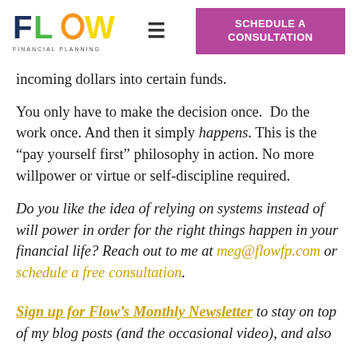[Figure (logo): FLOW Financial Planning logo with colorful letters and menu icon, plus Schedule a Consultation button]
incoming dollars into certain funds.
You only have to make the decision once.  Do the work once. And then it simply happens. This is the “pay yourself first” philosophy in action. No more willpower or virtue or self-discipline required.
Do you like the idea of relying on systems instead of will power in order for the right things happen in your financial life? Reach out to me at meg@flowfp.com or schedule a free consultation.
Sign up for Flow’s Monthly Newsletter to stay on top of my blog posts (and the occasional video), and also